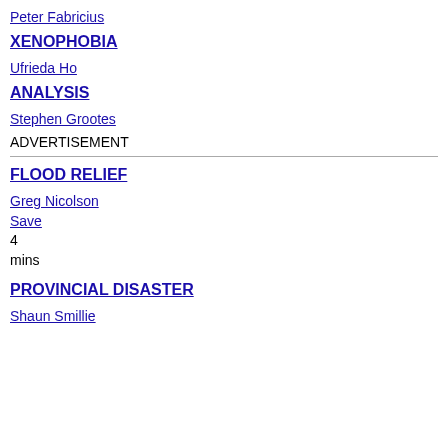Peter Fabricius
XENOPHOBIA
Ufrieda Ho
ANALYSIS
Stephen Grootes
ADVERTISEMENT
FLOOD RELIEF
Greg Nicolson
Save
4
mins
PROVINCIAL DISASTER
Shaun Smillie